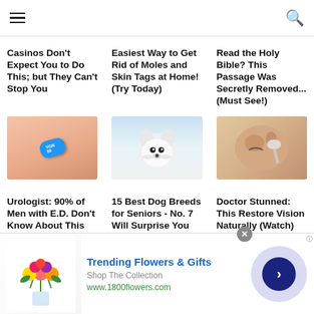Navigation header with hamburger menu and search icon
Casinos Don't Expect You to Do This; but They Can't Stop You
Easiest Way to Get Rid of Moles and Skin Tags at Home! (Try Today)
Read the Holy Bible? This Passage Was Secretly Removed...(Must See!)
[Figure (photo): Blue pill held between finger and thumb]
[Figure (photo): White fluffy small dog (Maltese puppy) looking at camera]
[Figure (photo): Woman holding a spoon near her eye]
Urologist: 90% of Men with E.D. Don't Know About This Easy
15 Best Dog Breeds for Seniors - No. 7 Will Surprise You
Doctor Stunned: This Restore Vision Naturally (Watch)
[Figure (photo): Flowers bouquet advertisement image]
Trending Flowers & Gifts
Shop The Collection
www.1800flowers.com